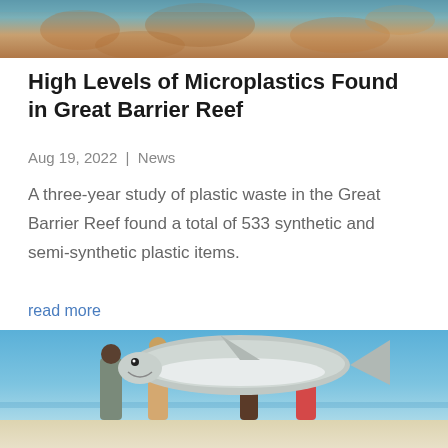[Figure (photo): Partial view of coral reef underwater scene, cropped at top of page]
High Levels of Microplastics Found in Great Barrier Reef
Aug 19, 2022 | News
A three-year study of plastic waste in the Great Barrier Reef found a total of 533 synthetic and semi-synthetic plastic items.
read more
[Figure (photo): People on a beach holding up a large shark — vintage photograph with blue sky background]